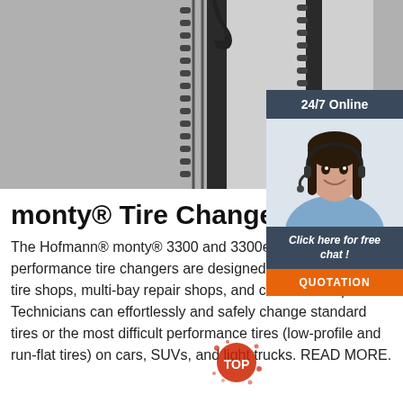[Figure (photo): Photo of tire changer equipment with chain mechanism and dark vertical pole, gray background]
[Figure (photo): Sidebar widget showing woman with headset (customer support agent) with '24/7 Online' header, 'Click here for free chat!' text, and 'QUOTATION' orange button]
monty® Tire Changers
The Hofmann® monty® 3300 and 3300em high-performance tire changers are designed for high volume tire shops, multi-bay repair shops, and car dealerships. Technicians can effortlessly and safely change standard tires or the most difficult performance tires (low-profile and run-flat tires) on cars, SUVs, and light trucks. READ MORE.